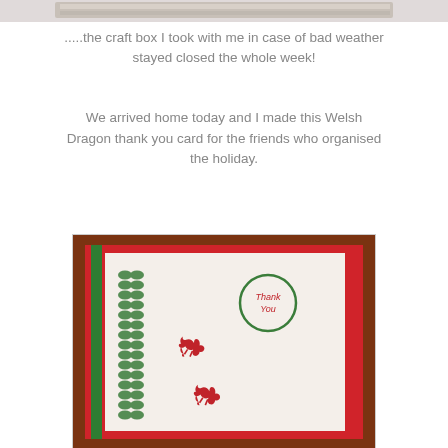[Figure (photo): Top portion of a photo, partially cropped at the top of the page]
.....the craft box I took with me in case of bad weather stayed closed the whole week!
We arrived home today and I made this Welsh Dragon thank you card for the friends who organised the holiday.
[Figure (photo): A handmade Welsh Dragon thank you card with red and green colors on a brown background, featuring green petal pattern strip on left, two red dragon stamps, and a circular 'Thank You' label in the upper right corner.]